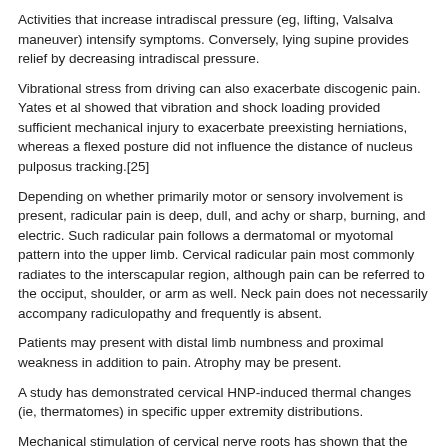Activities that increase intradiscal pressure (eg, lifting, Valsalva maneuver) intensify symptoms. Conversely, lying supine provides relief by decreasing intradiscal pressure.
Vibrational stress from driving can also exacerbate discogenic pain. Yates et al showed that vibration and shock loading provided sufficient mechanical injury to exacerbate preexisting herniations, whereas a flexed posture did not influence the distance of nucleus pulposus tracking.[25]
Depending on whether primarily motor or sensory involvement is present, radicular pain is deep, dull, and achy or sharp, burning, and electric. Such radicular pain follows a dermatomal or myotomal pattern into the upper limb. Cervical radicular pain most commonly radiates to the interscapular region, although pain can be referred to the occiput, shoulder, or arm as well. Neck pain does not necessarily accompany radiculopathy and frequently is absent.
Patients may present with distal limb numbness and proximal weakness in addition to pain. Atrophy may be present.
A study has demonstrated cervical HNP-induced thermal changes (ie, thermatomes) in specific upper extremity distributions.
Mechanical stimulation of cervical nerve roots has shown that the distribution of referred radicular symptoms (ie, dynatome) may be different from sensory deficits outlined by traditional dermatomal maps.
[Figure (logo): eMedicine logo with stylized cursive 'e' in blue followed by 'medicine' in dark gray sans-serif text]
Physical